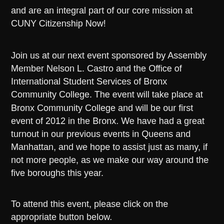and are an integral part of our core mission at CUNY Citizenship Now!
Join us at our next event sponsored by Assembly Member Nelson L. Castro and the Office of International Student Services of Bronx Community College. The event will take place at Bronx Community College and will be our first event of 2012 in the Bronx. We have had a great turnout in our previous events in Queens and Manhattan, and we hope to assist just as many, if not more people, as we make our way around the five boroughs this year.
To attend this event, please click on the appropriate button below.
Please note that you must RSVP using the link in this email in